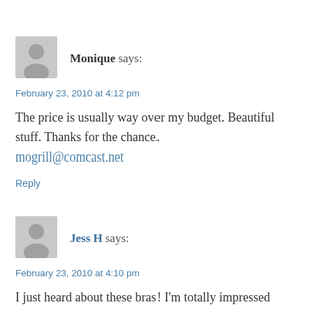[Figure (illustration): Gray silhouette avatar icon for commenter Monique]
Monique says:
February 23, 2010 at 4:12 pm
The price is usually way over my budget. Beautiful stuff. Thanks for the chance.
mogrill@comcast.net
Reply
[Figure (illustration): Gray silhouette avatar icon for commenter Jess H]
Jess H says:
February 23, 2010 at 4:10 pm
I just heard about these bras! I'm totally impressed